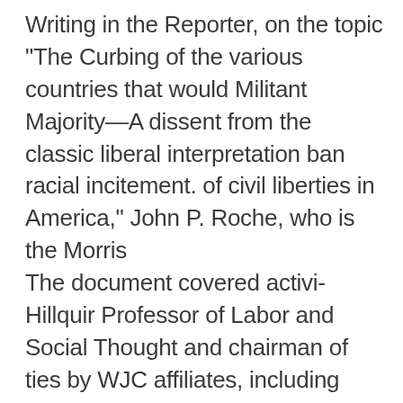Writing in the Reporter, on the topic "The Curbing of the various countries that would Militant Majority—A dissent from the classic liberal interpretation ban racial incitement. of civil liberties in America," John P. Roche, who is the Morris The document covered activi- Hillquir Professor of Labor and Social Thought and chairman of ties by WJC affiliates, including the Department of Politics at Brandeis University, asserts that— the American Jewish Congress, Anyone who cherishes the ideals of